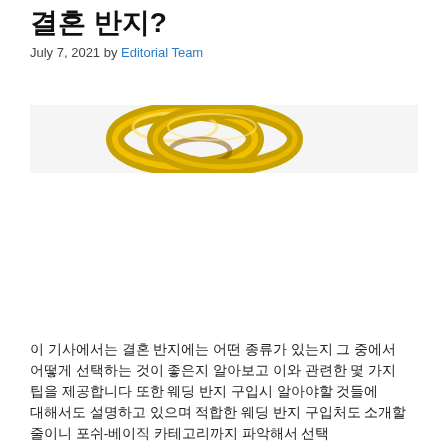결혼 반지?
July 7, 2021 by Editorial Team
[Figure (photo): Close-up photo of gold wedding rings on a light background]
이 기사에서는 결혼 반지에는 어떤 종류가 있는지 그 중에서 어떻게 선택하는 것이 좋은지 알아보고 이와 관련한 몇 가지 팁을 제공합니다 또한 웨딩 반지 구입시 알아야할 것들에 대해서도 설명하고 있으며 적합한 웨딩 반지 구입처도 소개할 줄이니 포쉬-베이직 카테고리까지 파악해서 선택